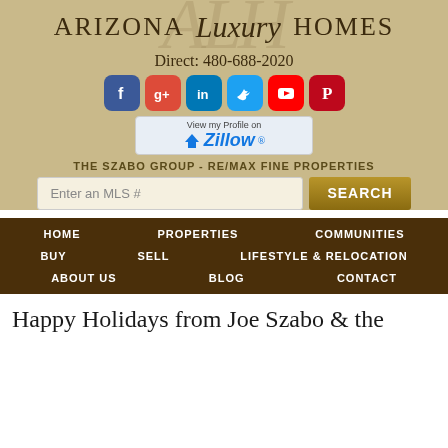ARIZONA Luxury HOMES
Direct: 480-688-2020
[Figure (infographic): Social media icons: Facebook (blue), Google+ (red), LinkedIn (blue), Twitter (light blue), YouTube (red), Pinterest (red)]
[Figure (logo): View my Profile on Zillow button with Zillow logo]
THE SZABO GROUP - RE/MAX FINE PROPERTIES
Enter an MLS #  SEARCH
HOME   PROPERTIES   COMMUNITIES
BUY   SELL   LIFESTYLE & RELOCATION
ABOUT US   BLOG   CONTACT
Happy Holidays from Joe Szabo & the